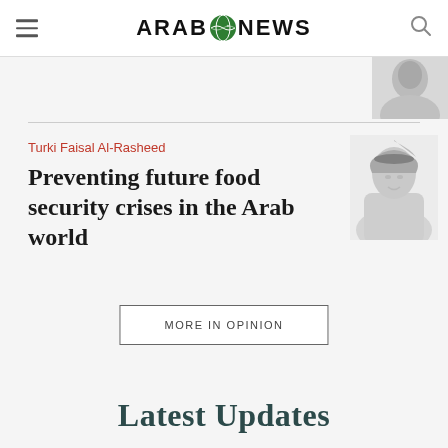ARAB NEWS
[Figure (photo): Partially visible author or editorial photo at top right]
Turki Faisal Al-Rasheed
Preventing future food security crises in the Arab world
[Figure (photo): Grayscale portrait photo of Turki Faisal Al-Rasheed in traditional Arab attire]
MORE IN OPINION
Latest Updates